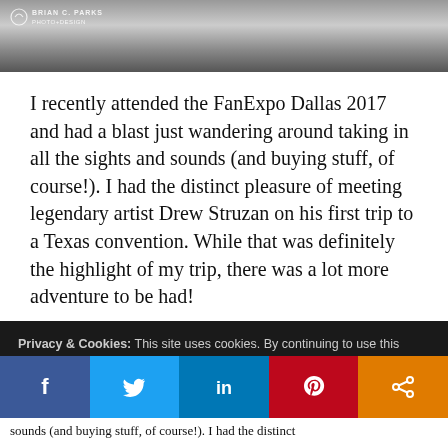[Figure (photo): Partial photo of a person in costume at a convention, with a photo/design watermark overlay reading 'BRIAN C. PARKS PHOTO+DESIGN']
I recently attended the FanExpo Dallas 2017 and had a blast just wandering around taking in all the sights and sounds (and buying stuff, of course!). I had the distinct pleasure of meeting legendary artist Drew Struzan on his first trip to a Texas convention. While that was definitely the highlight of my trip, there was a lot more adventure to be had!
Privacy & Cookies: This site uses cookies. By continuing to use this website, you agree to their use.
To find out more, including how to control cookies, see here: Cookie Policy
[Figure (infographic): Social media share bar with five buttons: Facebook (blue), Twitter (light blue), LinkedIn (dark blue), Pinterest (red), Share (orange)]
sounds (and buying stuff, of course!). I had the distinct